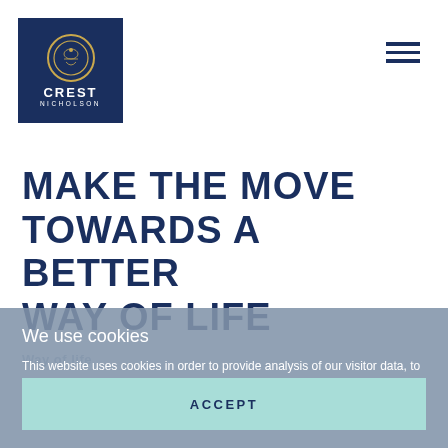[Figure (logo): Crest Nicholson logo — dark navy square with circular gold emblem and white text CREST NICHOLSON]
MAKE THE MOVE TOWARDS A BETTER WAY OF LIFE
We use cookies
This website uses cookies in order to provide analysis of our visitor data, to improve our website, show personalised content and to give you the best experience. For more information, click here.
ACCEPT